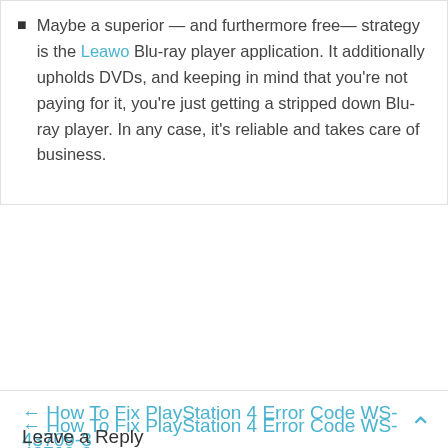Maybe a superior — and furthermore free— strategy is the Leawo Blu-ray player application. It additionally upholds DVDs, and keeping in mind that you're not paying for it, you're just getting a stripped down Blu-ray player. In any case, it's reliable and takes care of business.
← How To Fix PlayStation 4 Error Code WS-43709-3
How to Remove Friends in PUBG – Complete Guide →
Leave a Reply